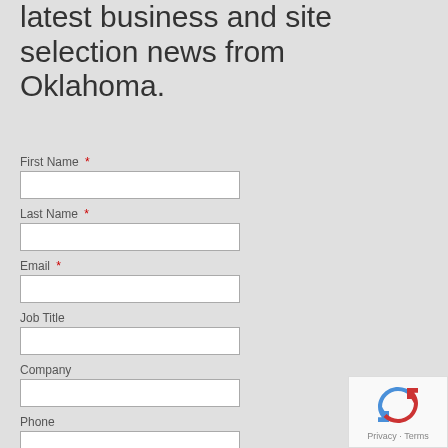latest business and site selection news from Oklahoma.
First Name *
Last Name *
Email *
Job Title
Company
Phone
[Figure (other): reCAPTCHA widget with refresh icon and Privacy - Terms links]